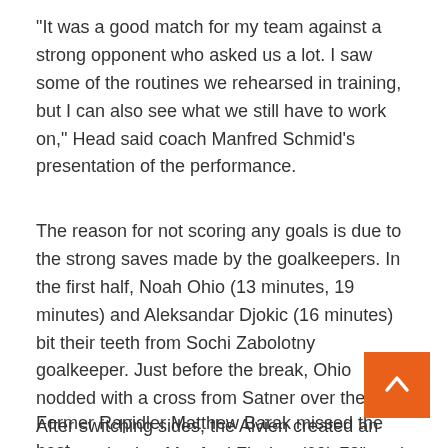“It was a good match for my team against a strong opponent who asked us a lot. I saw some of the routines we rehearsed in training, but I can also see what we still have to work on,” Head said coach Manfred Schmid’s presentation of the performance.
The reason for not scoring any goals is due to the strong saves made by the goalkeepers. In the first half, Noah Ohio (13 minutes, 19 minutes) and Aleksandar Djokic (16 minutes) bit their teeth from Sochi Zabolotny goalkeeper. Just before the break, Ohio nodded with a cross from Satner over the goal. After switching sides, the Alvien created an opportunity that Manfred Fischer (60’, 72’) and Lukas Muhl (73’) di use.
Former Rapidler Matthew Barak missed the best